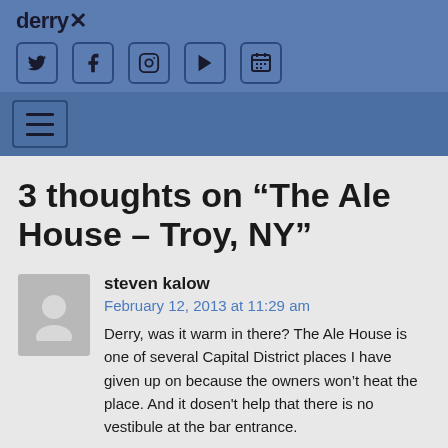derry X
[Figure (screenshot): Social media icon buttons: Twitter, Facebook, Instagram, YouTube, Calendar — white icons in rounded square outlines on blue background]
[Figure (screenshot): Hamburger menu button — three horizontal lines in a square outline on blue background]
3 thoughts on “The Ale House – Troy, NY”
steven kalow
February 12, 2013 at 11:29 am
Derry, was it warm in there? The Ale House is one of several Capital District places I have given up on because the owners won’t heat the place. And it dosen't help that there is no vestibule at the bar entrance.
Reply